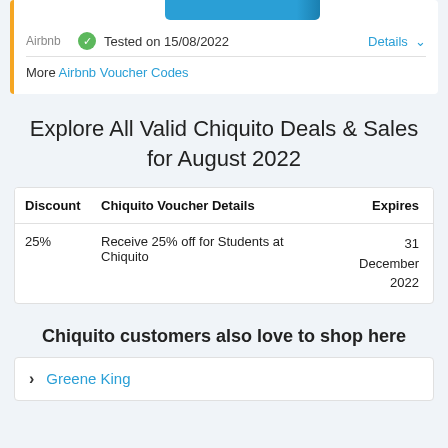[Figure (other): Blue banner/header strip at top of card]
Tested on 15/08/2022
Details
More Airbnb Voucher Codes
Explore All Valid Chiquito Deals & Sales for August 2022
| Discount | Chiquito Voucher Details | Expires |
| --- | --- | --- |
| 25% | Receive 25% off for Students at Chiquito | 31 December 2022 |
Chiquito customers also love to shop here
Greene King